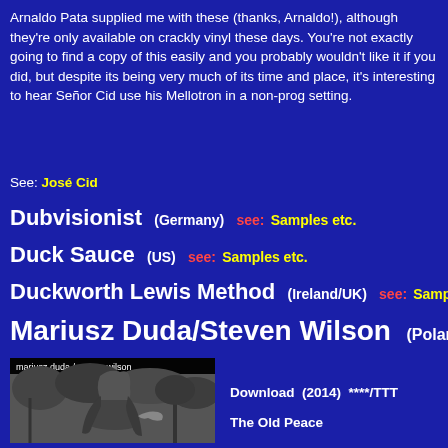Arnaldo Pata supplied me with these (thanks, Arnaldo!), although they're only available on crackly vinyl these days. You're not exactly going to find a copy of this easily and you probably wouldn't like it if you did, but despite its being very much of its time and place, it's interesting to hear Señor Cid use his Mellotron in a non-prog setting.
See: José Cid
Dubvisionist (Germany) see: Samples etc.
Duck Sauce (US) see: Samples etc.
Duckworth Lewis Method (Ireland/UK) see: Samples etc.
Mariusz Duda/Steven Wilson (Poland/UK)
[Figure (photo): Black and white album cover photo for mariusz duda / steven wilson showing a person with long hair in a natural outdoor setting]
Download  (2014)  ****/TTT
The Old Peace